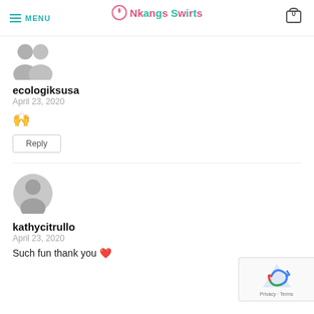MENU | Nkangs Swirts | 0
[Figure (illustration): Gray avatar placeholder showing two small silhouette heads side by side]
ecologiksusa
April 23, 2020
🙌
Reply
[Figure (illustration): Gray circular avatar placeholder with person silhouette]
kathycitrullo
April 23, 2020
Such fun thank you ❤️